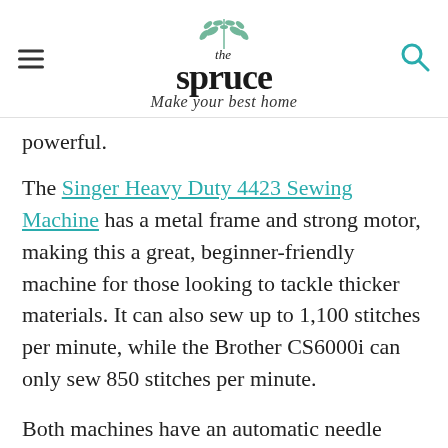the spruce — Make your best home
powerful.
The Singer Heavy Duty 4423 Sewing Machine has a metal frame and strong motor, making this a great, beginner-friendly machine for those looking to tackle thicker materials. It can also sew up to 1,100 stitches per minute, while the Brother CS6000i can only sew 850 stitches per minute.
Both machines have an automatic needle threader and a similar buttonhole sewing function. They're also usually in the same price range, and getting either under $200 is a great deal. Still, the Singer 4423 isn't